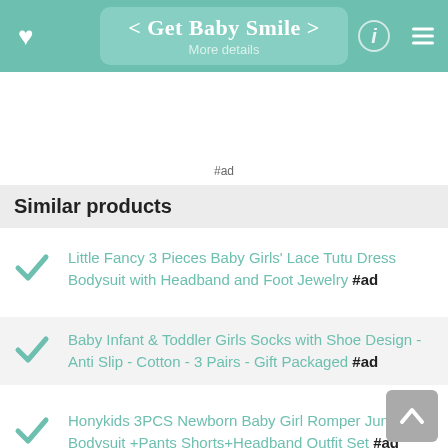< Get Baby Smile > | More details
#ad
Similar products
Little Fancy 3 Pieces Baby Girls' Lace Tutu Dress Bodysuit with Headband and Foot Jewelry #ad
Baby Infant & Toddler Girls Socks with Shoe Design - Anti Slip - Cotton - 3 Pairs - Gift Packaged #ad
Honykids 3PCS Newborn Baby Girl Romper Jumpsuit Bodysuit +Pants Shorts+Headband Outfit Set #ad